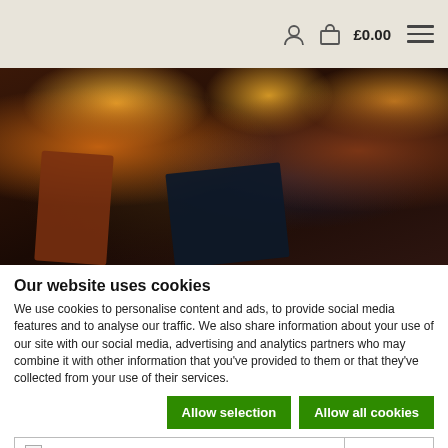£0.00
[Figure (photo): Warm-toned photograph of leather-bound books on a dark wooden surface with ambient warm lights in the background]
Our website uses cookies
We use cookies to personalise content and ads, to provide social media features and to analyse our traffic. We also share information about your use of our site with our social media, advertising and analytics partners who may combine it with other information that you've provided to them or that they've collected from your use of their services.
Allow selection | Allow all cookies
| Necessary | Preferences | Statistics | Show details |
| Marketing |  |  |  |